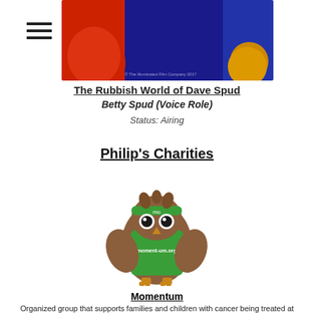[Figure (illustration): Screenshot of animated show banner, colorful characters on blue and red background with copyright text]
The Rubbish World of Dave Spud
Betty Spud (Voice Role)
Status: Airing
Philip's Charities
[Figure (illustration): Owl mascot wearing green vest with 'mo' headband and 'moment-um.org' text]
Momentum
Organized group that supports families and children with cancer being treated at Kingston Hospital Surrey.
[Figure (illustration): Two fingerprint characters, one orange with nurse hat, one blue holding a star wand]